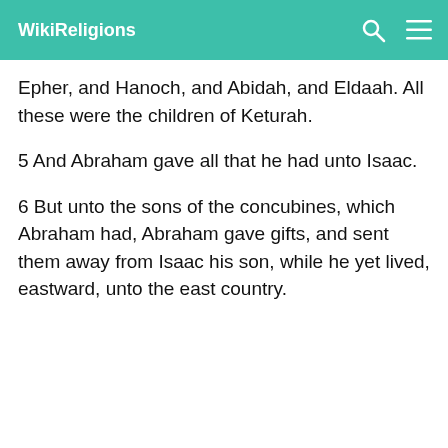WikiReligions
Epher, and Hanoch, and Abidah, and Eldaah. All these were the children of Keturah.
5 And Abraham gave all that he had unto Isaac.
6 But unto the sons of the concubines, which Abraham had, Abraham gave gifts, and sent them away from Isaac his son, while he yet lived, eastward, unto the east country.